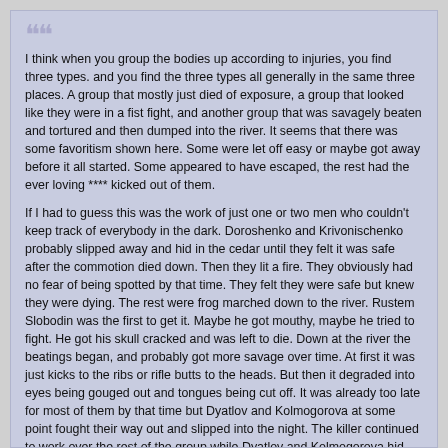I think when you group the bodies up according to injuries, you find three types.  and you find the three types all generally in the same three places.  A group that mostly just died of exposure, a group that looked like they were in a fist fight, and another group that was savagely beaten and tortured and then dumped into the river.   It seems that there was some favoritism shown here.  Some were let off easy or maybe got away before it all started.  Some appeared to have escaped, the rest had the ever loving **** kicked out of them.

If I had to guess this was the work of just one or two men who couldn't keep track of everybody in the dark.  Doroshenko and Krivonischenko probably slipped away and hid in the cedar until they felt it was safe after the commotion died down.   Then they lit a fire.  They obviously had no fear of being spotted by that time.  They felt they were safe but knew they were dying.   The rest were frog marched down to the river.  Rustem Slobodin was the first to get it.  Maybe he got mouthy, maybe he tried to fight.  He got his skull cracked and was left to die.    Down at the river the beatings began, and probably got more savage over time.  At first it was just kicks to the ribs or rifle butts to the heads.  But then it degraded into eyes being gouged out and tongues being cut off.  It was already too late for most of them by that time but Dyatlov and Kolmogorova at some point fought their way out and slipped into the night.  The killer continued to work over the rest of the group while Dyatlov and Kolmogorova hid.  The killer finally finishes and leaves but seems to have no interest in finding the others which should be as easy as following the footprints in the snow.  Maybe he decided to just wait at the tent an hour or two knowing they'll all die of exposure.   All he has to do is just wait them out.   Dyatlov and Kolmogorova return to the river to find their friends dead.    By then, who knows how long they'd been out with next to no clothes on.  They try to make a shelter and stay in it for a period of time, then notice the fire Doroshenko and Krivonischenko made.   They make their way over to them and find them dead probably some number of hours after it all began.   They